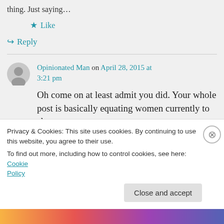thing. Just saying…
★ Like
↪ Reply
Opinionated Man on April 28, 2015 at 3:21 pm
Oh come on at least admit you did. Your whole post is basically equating women currently to slaves.
Privacy & Cookies: This site uses cookies. By continuing to use this website, you agree to their use.
To find out more, including how to control cookies, see here: Cookie Policy
Close and accept